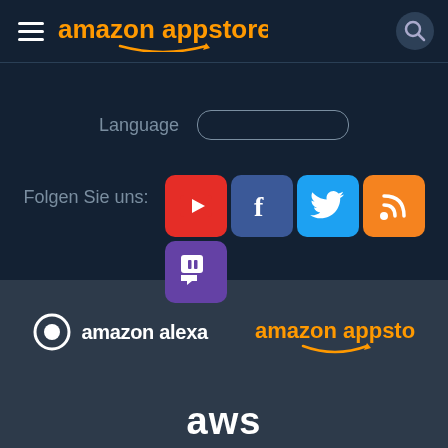amazon appstore
Language
Folgen Sie uns:
[Figure (screenshot): Social media icons: YouTube (red), Facebook (blue), Twitter (light blue), Blog/RSS (orange), Twitch (purple)]
[Figure (logo): amazon alexa logo with Alexa ring icon in white]
[Figure (logo): amazon appstore logo in orange/white]
[Figure (logo): aws logo in white bold text]